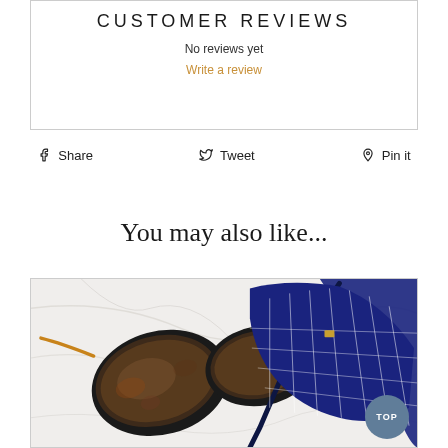CUSTOMER REVIEWS
No reviews yet
Write a review
Share   Tweet   Pin it
You may also like...
[Figure (photo): Flat lay photo of sunglasses and a blue patterned bikini top on a marble surface]